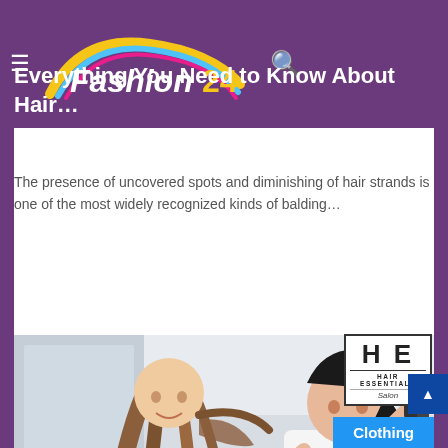Fashion24 — Everything You Need to Know About Hair…
Everything You Need to Know About Hair…
The presence of uncovered spots and diminishing of hair strands is one of the most widely recognized kinds of balding…
Read More »
[Figure (photo): A hairstylist blow-drying and straightening a woman's long brown hair in a salon, with another person visible in the background.]
[Figure (logo): Hair Essentials Salon logo — block letters HE with full name below]
Clothing